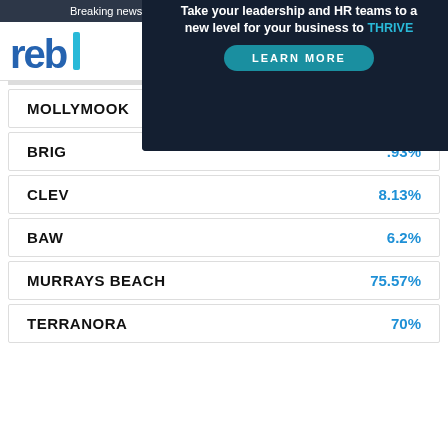Breaking news and updates daily. subscribe to our Newsletter!
Home of the REB Top 100 Agents
MOLLYMOOK   82.85%
BRIG   .93%
CLEV   8.13%
BAW   6.2%
[Figure (infographic): HR Leader Access webcast advertisement. Date: 1 September 2022 | 11am - 12pm AEST. Webcast: Take your leadership and HR teams to a new level for your business to THRIVE. Button: LEARN MORE]
MURRAYS BEACH   75.57%
TERRANORA   70%